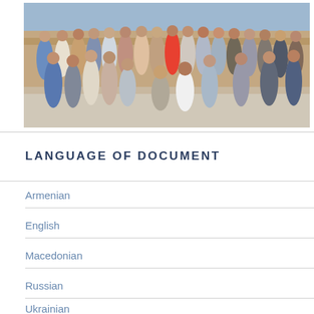[Figure (photo): Group photo of approximately 30 people standing and crouching outdoors in front of a rocky/stone wall backdrop on a sunny day]
LANGUAGE OF DOCUMENT
Armenian
English
Macedonian
Russian
Ukrainian